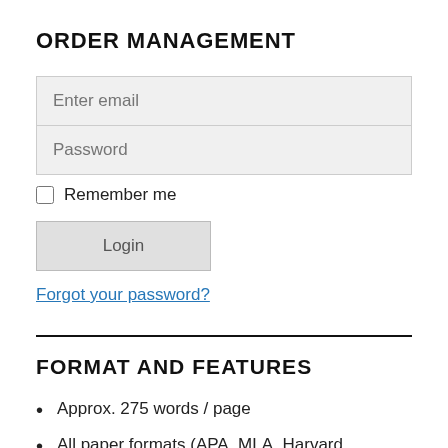ORDER MANAGEMENT
[Figure (screenshot): Login form with Enter email and Password input fields, Remember me checkbox, Login button, and Forgot your password? link]
FORMAT AND FEATURES
Approx. 275 words / page
All paper formats (APA, MLA, Harvard,